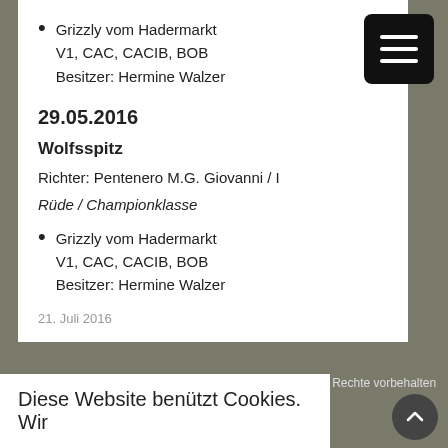Grizzly vom Hadermarkt
V1, CAC, CACIB, BOB
Besitzer: Hermine Walzer
29.05.2016
Wolfsspitz
Richter: Pentenero M.G. Giovanni / I
Rüde / Championklasse
Grizzly vom Hadermarkt
V1, CAC, CACIB, BOB
Besitzer: Hermine Walzer
21. Juli 2016
© 2022 Österreichischer Klub für Spitze und Spitzarten, alle Rechte vorbehalten
Diese Website benützt Cookies. Wir